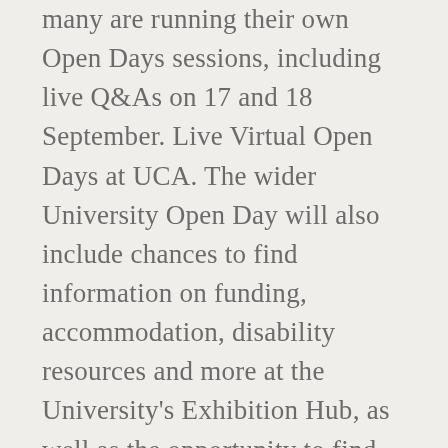many are running their own Open Days sessions, including live Q&As on 17 and 18 September. Live Virtual Open Days at UCA. The wider University Open Day will also include chances to find information on funding, accommodation, disability resources and more at the University's Exhibition Hub, as well as the opportunity to find out more about life as a Postgraduate Student. To access subject sessions, please visit the relevant subject listing on the Virtual Tour. All of the clubs, societies, gigs, festivals and other opportunities open to those students who have a love of Welsh culture. Colleges. Scroll Down. Aston University Undergraduate Virtual Open Day.